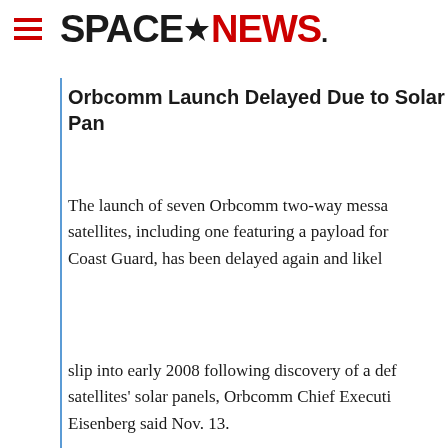SPACENEWS
Orbcomm Launch Delayed Due to Solar Pan
The launch of seven Orbcomm two-way messa satellites, including one featuring a payload for Coast Guard, has been delayed again and likel
slip into early 2008 following discovery of a def satellites' solar panels, Orbcomm Chief Executi Eisenberg said Nov. 13.